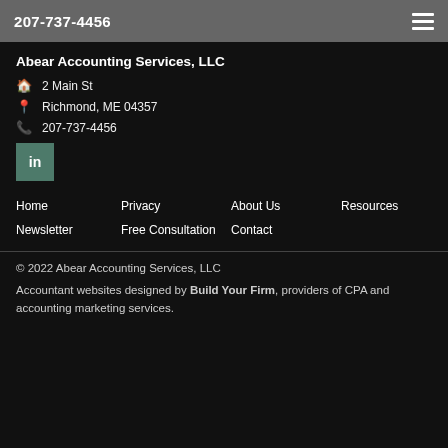207-737-4456
Abear Accounting Services, LLC
2 Main St
Richmond, ME 04357
207-737-4456
[Figure (logo): LinkedIn social media icon button in teal/green square]
Home
Privacy
About Us
Resources
Newsletter
Free Consultation
Contact
© 2022 Abear Accounting Services, LLC
Accountant websites designed by Build Your Firm, providers of CPA and accounting marketing services.